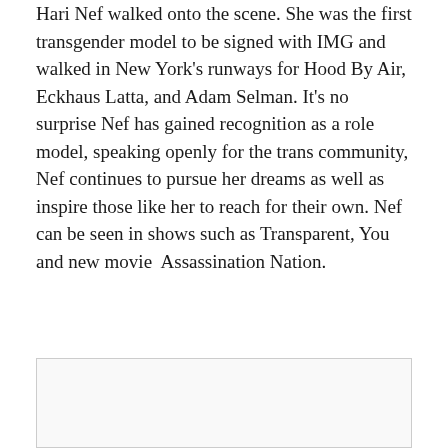Hari Nef walked onto the scene. She was the first transgender model to be signed with IMG and walked in New York's runways for Hood By Air, Eckhaus Latta, and Adam Selman. It's no surprise Nef has gained recognition as a role model, speaking openly for the trans community, Nef continues to pursue her dreams as well as inspire those like her to reach for their own. Nef can be seen in shows such as Transparent, You and new movie  Assassination Nation.
[Figure (other): Empty bordered box, likely placeholder for an image]